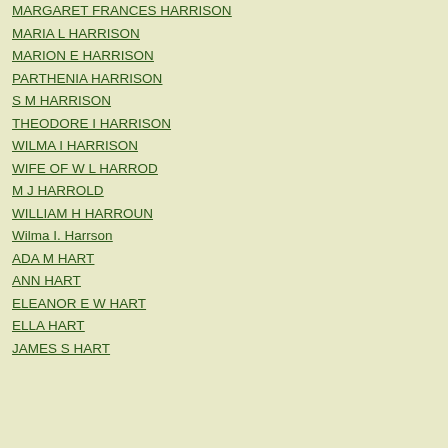MARGARET FRANCES HARRISON
MARIA L HARRISON
MARION E HARRISON
PARTHENIA HARRISON
S M HARRISON
THEODORE I HARRISON
WILMA I HARRISON
WIFE OF W L HARROD
M J HARROLD
WILLIAM H HARROUN
Wilma I. Harrson
ADA M HART
ANN HART
ELEANOR E W HART
ELLA HART
JAMES S HART